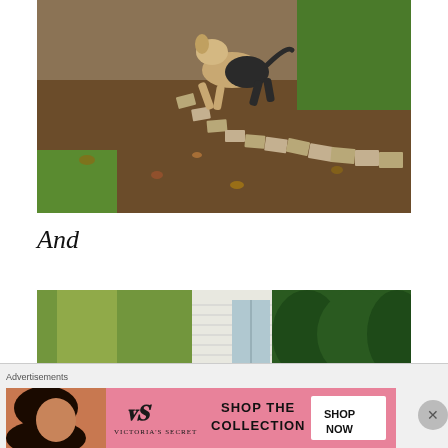[Figure (photo): Outdoor backyard scene showing a dog jumping/running over a curved row of stone pavers/bricks on the ground, with fallen leaves and grass visible]
And
[Figure (photo): Partial outdoor photo showing a house exterior with white siding, a door, and surrounding green trees/bushes]
Advertisements
[Figure (photo): Victoria's Secret advertisement banner showing a model, the VS logo, text 'SHOP THE COLLECTION', and a pink 'SHOP NOW' button]